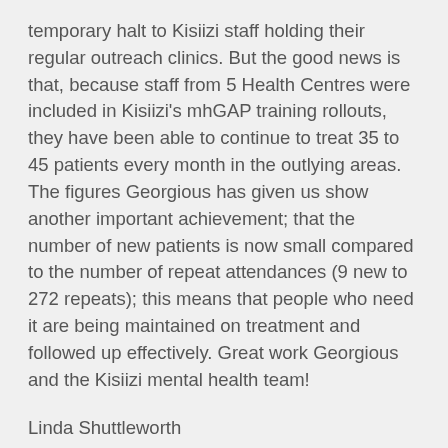temporary halt to Kisiizi staff holding their regular outreach clinics. But the good news is that, because staff from 5 Health Centres were included in Kisiizi's mhGAP training rollouts, they have been able to continue to treat 35 to 45 patients every month in the outlying areas. The figures Georgious has given us show another important achievement; that the number of new patients is now small compared to the number of repeat attendances (9 new to 272 repeats); this means that people who need it are being maintained on treatment and followed up effectively. Great work Georgious and the Kisiizi mental health team!
Linda Shuttleworth
*mhGAP is the World Health Organisation programme to train non-specialist healthcare